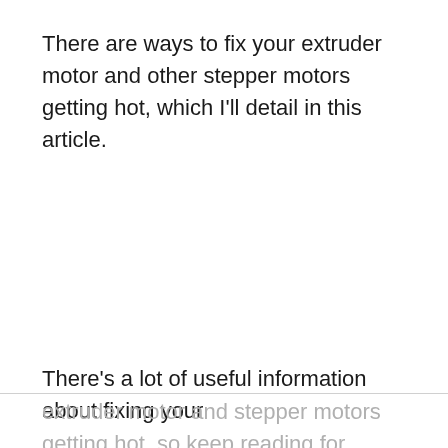There are ways to fix your extruder motor and other stepper motors getting hot, which I'll detail in this article.
There's a lot of useful information about fixing your extruder motor and stepper motors getting hot, so keep reading for more.